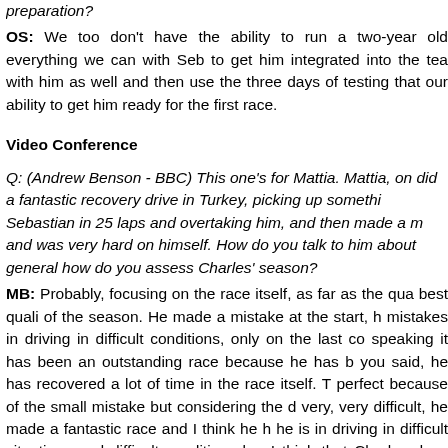preparation?
OS: We too don't have the ability to run a two-year old everything we can with Seb to get him integrated into the tea with him as well and then use the three days of testing that our ability to get him ready for the first race.
Video Conference
Q: (Andrew Benson - BBC) This one's for Mattia. Mattia, on did a fantastic recovery drive in Turkey, picking up somethi Sebastian in 25 laps and overtaking him, and then made a m and was very hard on himself. How do you talk to him about general how do you assess Charles' season?
MB: Probably, focusing on the race itself, as far as the qua best quali of the season. He made a mistake at the start, h mistakes in driving in difficult conditions, only on the last co speaking it has been an outstanding race because he has b you said, he has recovered a lot of time in the race itself. T perfect because of the small mistake but considering the d very, very difficult, he made a fantastic race and I think he h he is in driving in difficult situations and difficult conditions be. I think that Charles does not need to prove how fast h knows how good he is, driving, quali, race, difficult, co